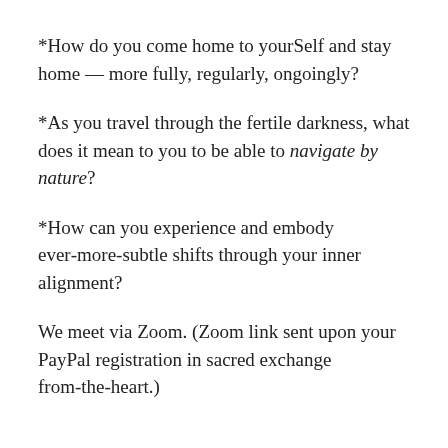*How do you come home to yourSelf and stay home — more fully, regularly, ongoingly?
*As you travel through the fertile darkness, what does it mean to you to be able to navigate by nature?
*How can you experience and embody ever-more-subtle shifts through your inner alignment?
We meet via Zoom. (Zoom link sent upon your PayPal registration in sacred exchange from-the-heart.)